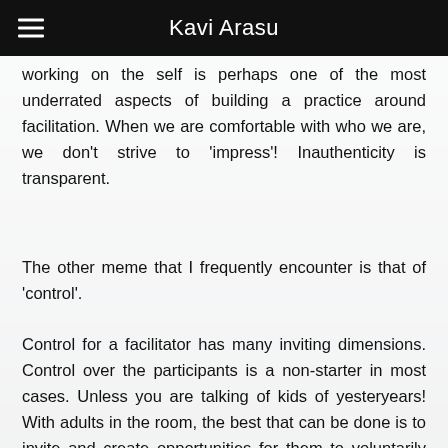Kavi Arasu
working on the self is perhaps one of the most underrated aspects of building a practice around facilitation. When we are comfortable with who we are, we don't strive to 'impress'! Inauthenticity is transparent.
The other meme that I frequently encounter is that of 'control'.
Control for a facilitator has many inviting dimensions. Control over the participants is a non-starter in most cases. Unless you are talking of kids of yesteryears! With adults in the room, the best that can be done is to invite and create opportunities for them to voluntarily co-create and stay engaged. Right from framing collective norms that help